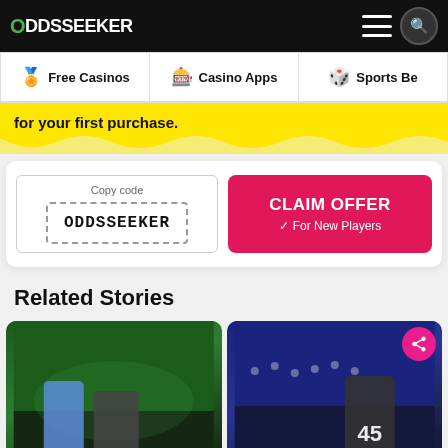ODDSSEEKER
Free Casinos | Casino Apps | Sports Be...
for your first purchase.
Copy code
ODDSSEEKER
CLAIM OFFER
✓ For New Players
Related Stories
[Figure (photo): Two men at NBA draft event holding a Celtics jersey labeled GARDNER]
[Figure (photo): NBA players including Mitchell wearing jersey #45 at crowded arena]